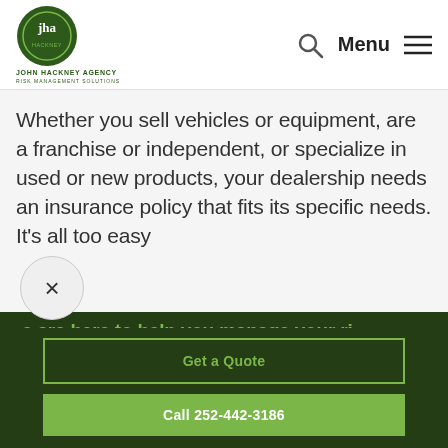[Figure (logo): John Hackney Agency logo — circular green emblem with 'jha' initials, text 'JOHN HACKNEY AGENCY' and 'RISK MANAGEMENT SOLUTIONS']
Menu
Whether you sell vehicles or equipment, are a franchise or independent, or specialize in used or new products, your dealership needs an insurance policy that fits its specific needs. It's all too easy
e are here to help you manage your ri
Get a Quote
Call 252-442-3186